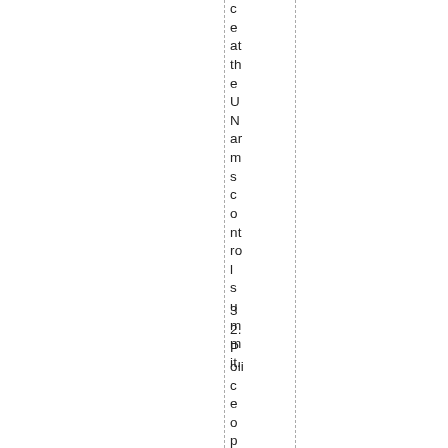ce at the UN arms control summit.
32. Police cooper